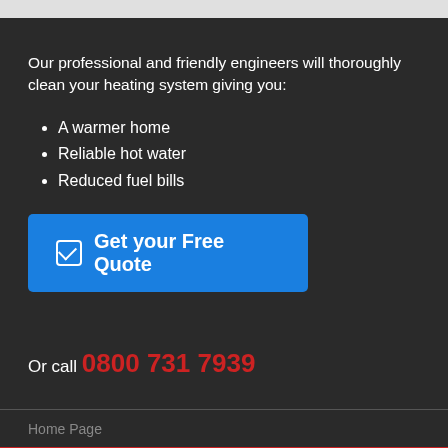Our professional and friendly engineers will thoroughly clean your heating system giving you:
A warmer home
Reliable hot water
Reduced fuel bills
✔ Get your Free Quote
Or call 0800 731 7939
Home Page